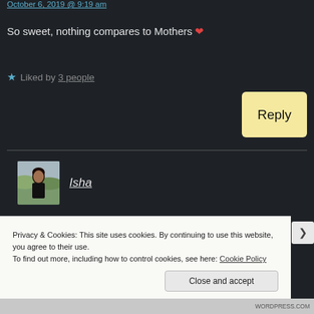October 6, 2019 @ 9:19 am
So sweet, nothing compares to Mothers ❤
★ Liked by 3 people
Reply
[Figure (photo): Avatar photo of user Isha — a woman with dark hair outdoors]
Isha
Privacy & Cookies: This site uses cookies. By continuing to use this website, you agree to their use.
To find out more, including how to control cookies, see here: Cookie Policy
Close and accept